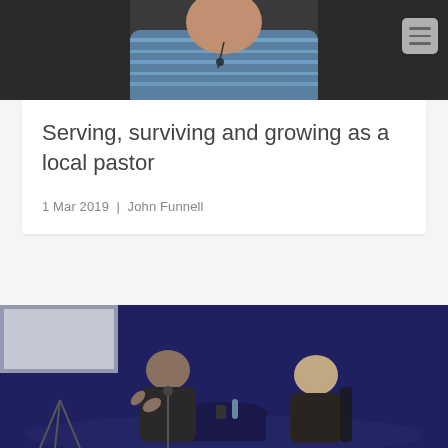[Figure (photo): A man in a blue striped shirt with a microphone, photographed from the shoulders up against a dark background]
Serving, surviving and growing as a local pastor
1 Mar 2019  |  John Funnell
[Figure (photo): Two people seated at a round table on a stage with purple/blue lighting, one person gesturing while speaking to the other]